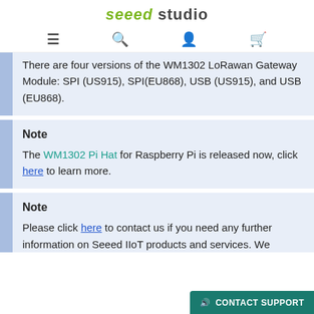seeed studio
There are four versions of the WM1302 LoRawan Gateway Module: SPI (US915), SPI(EU868), USB (US915), and USB (EU868).
Note
The WM1302 Pi Hat for Raspberry Pi is released now, click here to learn more.
Note
Please click here to contact us if you need any further information on Seeed IIoT products and services. We